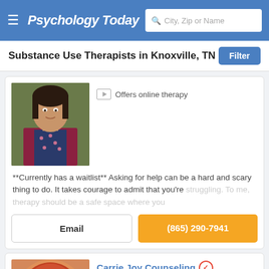Psychology Today — City, Zip or Name search
Substance Use Therapists in Knoxville, TN
[Figure (photo): Therapist profile photo — woman with dark hair, wearing burgundy cardigan over floral blouse]
Offers online therapy
**Currently has a waitlist** Asking for help can be a hard and scary thing to do. It takes courage to admit that you're struggling. To me, therapy should be a safe space where you
Email
(865) 290-7941
Carrie Joy Counseling
Licensed Professional Counselor, LPC, MHSP, ADS
Knoxville, TN 37921
Offers online therapy
[Figure (photo): Therapist profile photo — woman with colorful auburn/red curly hair, wearing glasses, smiling]